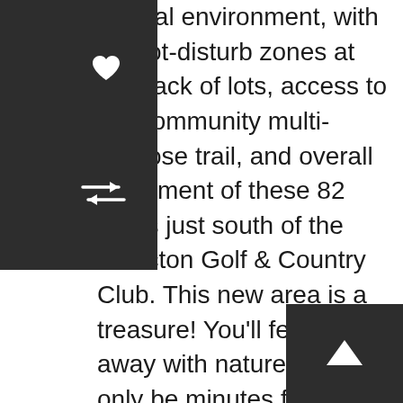natural environment, with do-not-disturb zones at the back of lots, access to the community multi-purpose trail, and overall placement of these 82 acres just south of the Moncton Golf & Country Club. This new area is a treasure! You'll feel tucked away with nature but will only be minutes from any necessity. Pleased to offer quality builders to design and construct your vision, whether you're looking to downsize to a one-level bungalow or are looking for that expansive new home for your growing family. An investment in The Fairways is a solid investment in your future. The Fairways exhibits everything you've been looking for in that perfect building lot. You